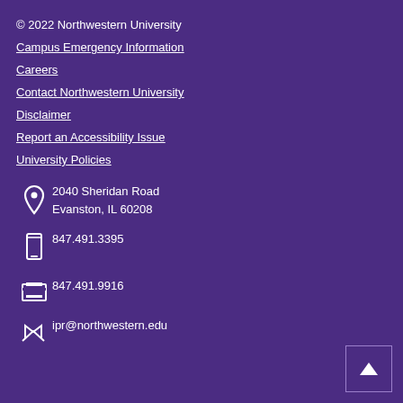© 2022 Northwestern University
Campus Emergency Information
Careers
Contact Northwestern University
Disclaimer
Report an Accessibility Issue
University Policies
2040 Sheridan Road
Evanston, IL 60208
847.491.3395
847.491.9916
ipr@northwestern.edu